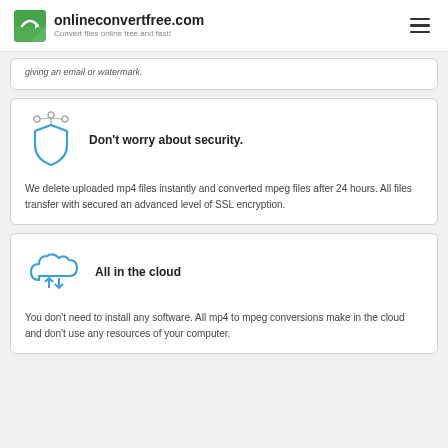onlineconvertfree.com — Convert files online free and fast!
giving an email or watermark.
[Figure (illustration): Blue shield icon with lock/key nodes above it, representing security]
Don't worry about security.
We delete uploaded mp4 files instantly and converted mpeg files after 24 hours. All files transfer with secured an advanced level of SSL encryption.
[Figure (illustration): Blue cloud icon with up and down arrows, representing cloud upload/download]
All in the cloud
You don't need to install any software. All mp4 to mpeg conversions make in the cloud and don't use any resources of your computer.